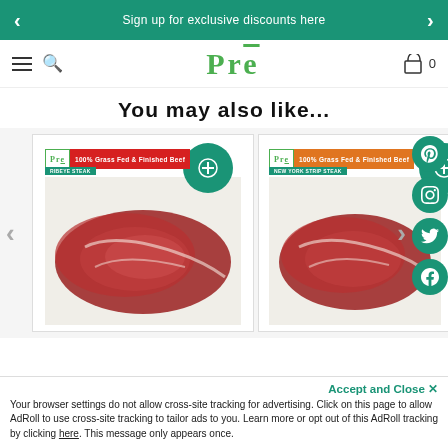Sign up for exclusive discounts here
[Figure (screenshot): Pre brand logo with green text and underline bar]
You may also like...
[Figure (photo): Pre brand 100% Grass Fed & Finished Beef ribeye steak packaged product]
[Figure (photo): Pre brand 100% Grass Fed & Finished Beef New York strip steak packaged product]
Accept and Close ✕
Your browser settings do not allow cross-site tracking for advertising. Click on this page to allow AdRoll to use cross-site tracking to tailor ads to you. Learn more or opt out of this AdRoll tracking by clicking here. This message only appears once.